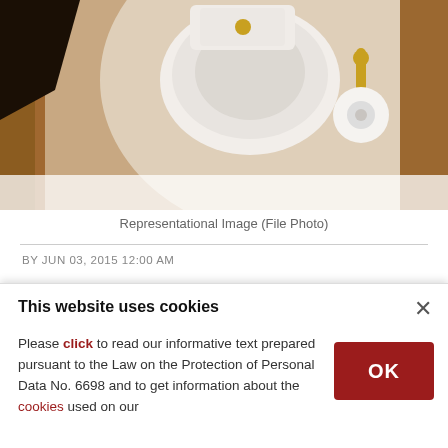[Figure (photo): Overhead view of a white toilet with gold/brass fixtures and toilet paper holder in a bathroom with wooden paneling]
Representational Image (File Photo)
BY JUN 03, 2015 12:00 AM
Japan is looking at installing toilets in elevators and providing an emergency supply of drinking water for people trapped by the nation's frequent powerful earthquakes, an official said on
This website uses cookies
×
Please click to read our informative text prepared pursuant to the Law on the Protection of Personal Data No. 6698 and to get information about the cookies used on our
OK